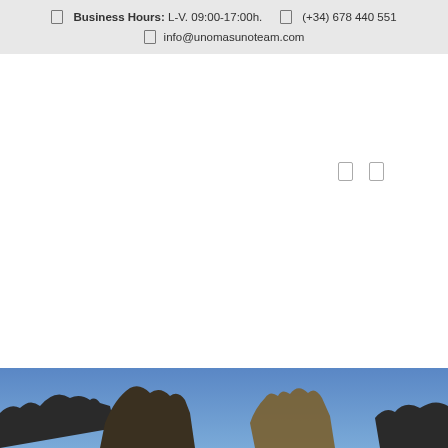Business Hours: L-V. 09:00-17:00h.   (+34) 678 440 551   info@unomasunoteam.com
[Figure (photo): Bottom landscape photo showing rocky formations or statues against a blue sky, partially visible at the bottom of the page]